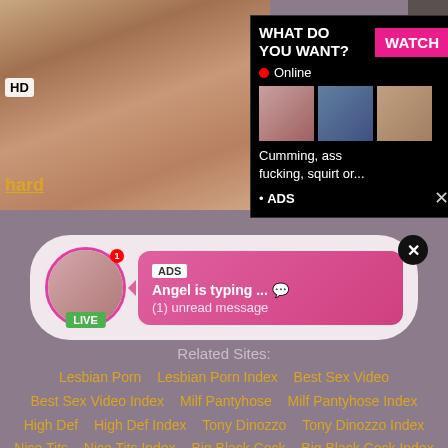[Figure (screenshot): Adult website screenshot showing popup ads with live chat notification and related site links]
WHAT DO YOU WANT?
WATCH
● Online
Cumming, ass fucking, squirt or...
• ADS
ADS
Angel is typing ... 💬
(1) unread message
Related Sites:
Lesbian Porn
Lesbian Porn Index
Best Sex Video
Best Sex Video Index
Milf Pantyhose
Milf Pantyhose Index
High Def
High Def Index
Tony Dinozzo
Tony Dinozzo Index
Nice Tits
Nice Tits Index
Big Black Cock
Big Black Cock Index
Brazilian
Brazilian Index
Roleplay
Roleplay Index
Pornm
Pornm Index